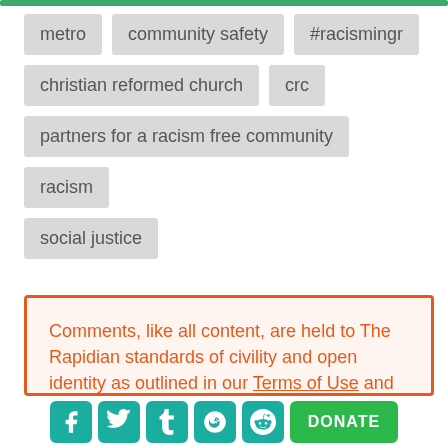metro
community safety
#racismingr
christian reformed church
crc
partners for a racism free community
racism
social justice
Comments, like all content, are held to The Rapidian standards of civility and open identity as outlined in our Terms of Use and Values Statement. We reserve the right to remove any
Facebook Twitter Tumblr Google+ Reddit DONATE